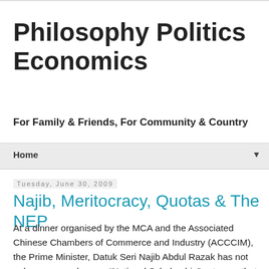Philosophy Politics Economics
For Family & Friends, For Community & Country
Home
Tuesday, June 30, 2009
Najib, Meritocracy, Quotas & The NEP
At a dinner organised by the MCA and the Associated Chinese Chambers of Commerce and Industry (ACCCIM), the Prime Minister, Datuk Seri Najib Abdul Razak has not only announced a new “National Scholarship” category that will be based on merit, but more importantly he had also